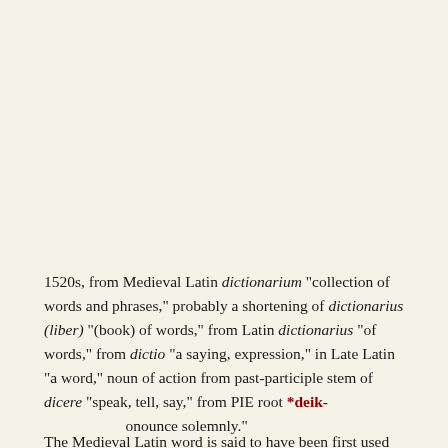1520s, from Medieval Latin dictionarium "collection of words and phrases," probably a shortening of dictionarius (liber) "(book) of words," from Latin dictionarius "of words," from dictio "a saying, expression," in Late Latin "a word," noun of action from past-participle stem of dicere "speak, tell, say," from PIE root *deik- "to show, pronounce solemnly."
The Medieval Latin word is said to have been first used by